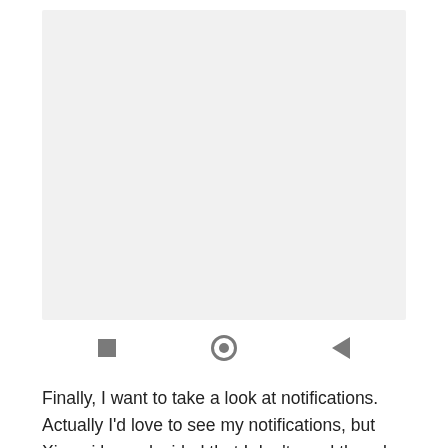[Figure (screenshot): A blank/grey screenshot placeholder area representing a mobile phone screenshot]
[Figure (other): Android navigation bar with three buttons: square (recent apps), circle with inner dot (home), and back triangle]
Finally, I want to take a look at notifications. Actually I'd love to see my notifications, but Xiaomi have decided that I don't need them by default. In much the same way Oppo had some